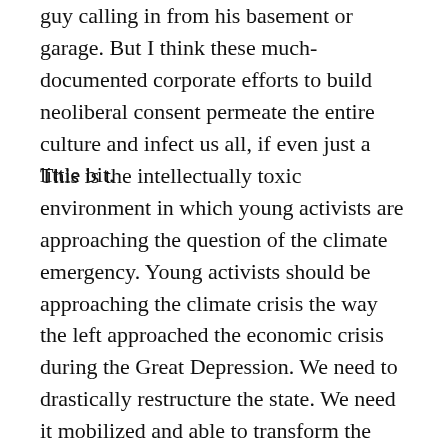guy calling in from his basement or garage. But I think these much-documented corporate efforts to build neoliberal consent permeate the entire culture and infect us all, if even just a little bit.
This is the intellectually toxic environment in which young activists are approaching the question of the climate emergency. Young activists should be approaching the climate crisis the way the left approached the economic crisis during the Great Depression. We need to drastically restructure the state. We need it mobilized and able to transform the economy. The New Deal was imperfect, of course. It left domestic workers and farm workers out of the Fair Labor Standards Act. It was inherently racist. It dammed rivers and was environmentally destructive. However, the New Deal was radical in its general empowerment of labor; its distributional outcomes were progressive